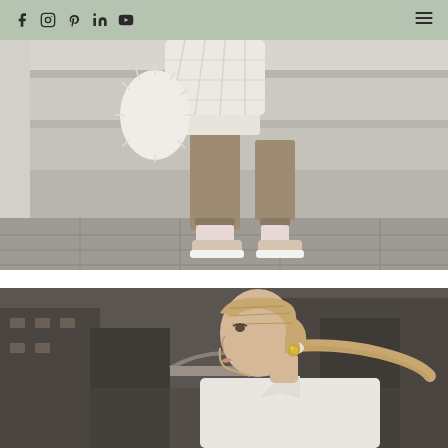Social media navigation bar with icons: Facebook, Instagram, Pinterest, LinkedIn, YouTube, and hamburger menu
[Figure (photo): Street style fashion photo showing lower body of a person wearing a cream quilted coat, tan/brown tapered trousers, white socks and beige platform sneakers, carrying a white fluffy faux-fur bag, standing on stone steps with grey paving below]
[Figure (photo): Street style fashion photo showing a blonde woman in profile view with her hair in a low ponytail, wearing gold stud earrings and a white jacket, photographed against an urban background with buildings]